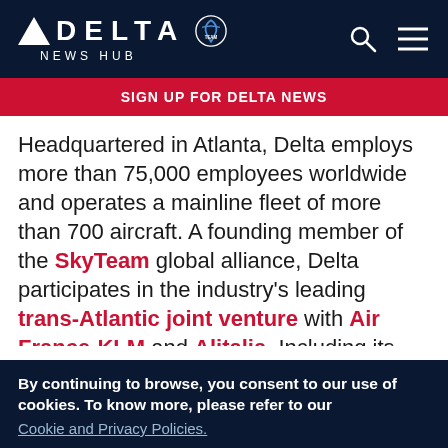DELTA NEWS HUB
SIGN UP FOR DELTA NEWS
Headquartered in Atlanta, Delta employs more than 75,000 employees worldwide and operates a mainline fleet of more than 700 aircraft. A founding member of the SkyTeam global alliance, Delta participates in the industry's leading trans-Atlantic joint venture with Air France-KLM and Alitalia. Including its worldwide alliance partners, Delta offers customers more than 13,000 daily flights, with hubs in Amsterdam, Atlanta, Cincinnati…
By continuing to browse, you consent to our use of cookies. To know more, please refer to our Cookie and Privacy Policies.